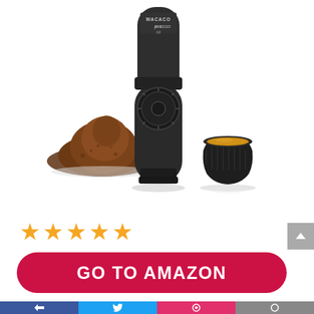[Figure (photo): Wacaco Minipresso GR portable espresso maker (dark grey/black) shown with a pile of ground coffee and a small black espresso cup filled with espresso, on a white background. The device has the WACACO minipresso GR branding on it.]
★★★★★
GO TO AMAZON
Amazon.com